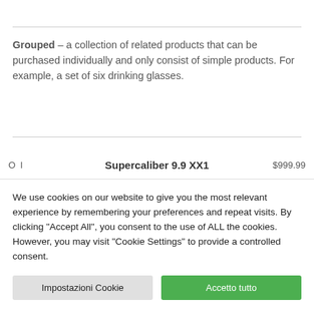Grouped – a collection of related products that can be purchased individually and only consist of simple products. For example, a set of six drinking glasses.
Supercaliber 9.9 XX1  $999.00
We use cookies on our website to give you the most relevant experience by remembering your preferences and repeat visits. By clicking "Accept All", you consent to the use of ALL the cookies. However, you may visit "Cookie Settings" to provide a controlled consent.